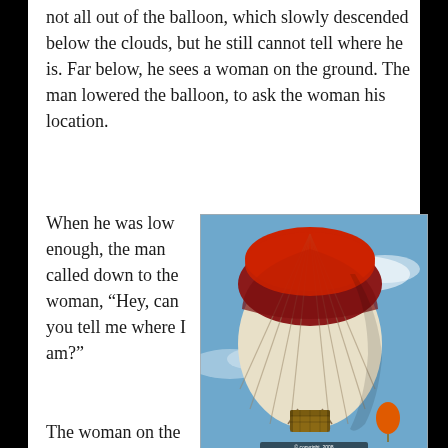not all out of the balloon, which slowly descended below the clouds, but he still cannot tell where he is. Far below, he sees a woman on the ground. The man lowered the balloon, to ask the woman his location.
When he was low enough, the man called down to the woman, “Hey, can you tell me where I am?”
[Figure (photo): Photograph of a large red, dark red, and cream/white striped hot air balloon in flight against a blue sky with light clouds. A small orange balloon is visible in the lower right. A small watermark/copyright text appears at the bottom of the image.]
The woman on the ground